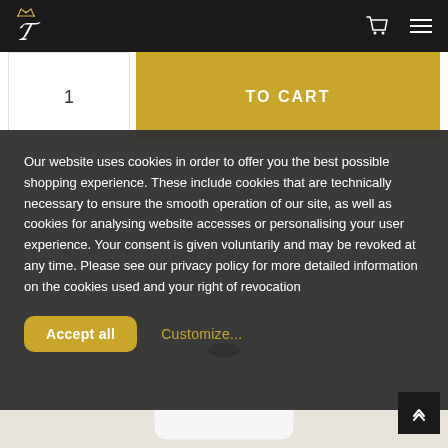Navigation header with logo, cart icon, and menu icon
1  TO CART
Our website uses cookies in order to offer you the best possible shopping experience. These include cookies that are technically necessary to ensure the smooth operation of our site, as well as cookies for analysing website accesses or personalising your user experience. Your consent is given voluntarily and may be revoked at any time. Please see our privacy policy for more detailed information on the cookies used and your right of revocation
Accept all  Customize...
[Figure (photo): White ceramic pot/casserole with lid and handles, product photo on light beige background]